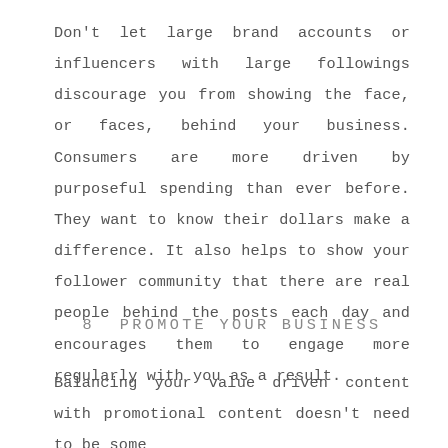Don't let large brand accounts or influencers with large followings discourage you from showing the face, or faces, behind your business. Consumers are more driven by purposeful spending than ever before. They want to know their dollars make a difference. It also helps to show your follower community that there are real people behind the posts each day and encourages them to engage more regularly with you as a result.
8  PROMOTE YOUR BUSINESS
Balancing your value driven content with promotional content doesn't need to be some